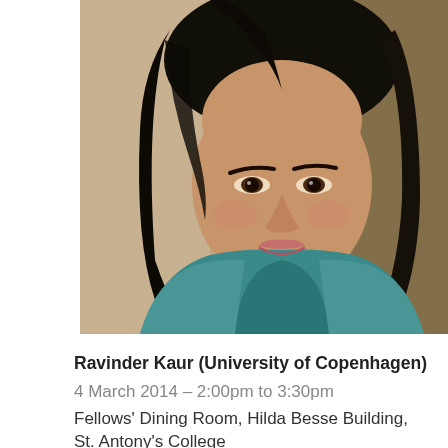[Figure (photo): Portrait photograph of a woman with dark shoulder-length hair wearing a teal/blue top, photographed indoors with a blurred background]
Ravinder Kaur (University of Copenhagen)
4 March 2014 – 2:00pm to 3:30pm
Fellows' Dining Room, Hilda Besse Building, St. Antony's College